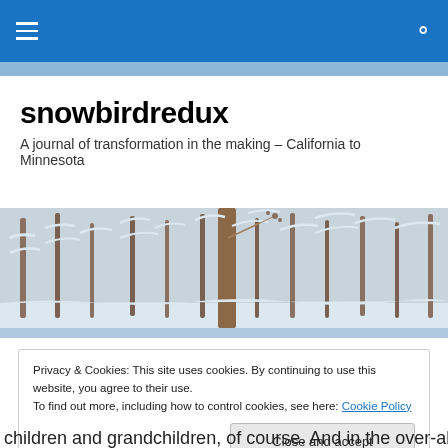snowbirdredux — navigation bar with hamburger menu and search icon
snowbirdredux
A journal of transformation in the making – California to Minnesota
[Figure (photo): A winter forest scene with snow-covered trees and a prominent tree trunk in the center]
Privacy & Cookies: This site uses cookies. By continuing to use this website, you agree to their use.
To find out more, including how to control cookies, see here: Cookie Policy
[Close and accept button]
children and grandchildren, of course. And in the over-all